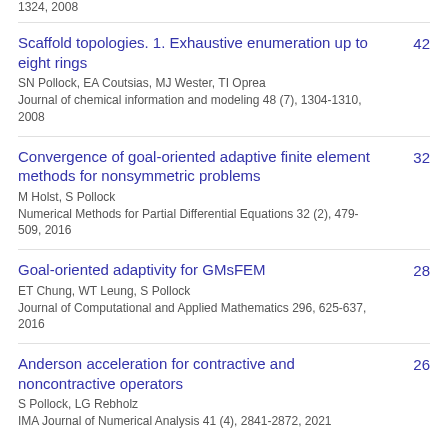1324, 2008
Scaffold topologies. 1. Exhaustive enumeration up to eight rings
SN Pollock, EA Coutsias, MJ Wester, TI Oprea
Journal of chemical information and modeling 48 (7), 1304-1310, 2008
42
Convergence of goal-oriented adaptive finite element methods for nonsymmetric problems
M Holst, S Pollock
Numerical Methods for Partial Differential Equations 32 (2), 479-509, 2016
32
Goal-oriented adaptivity for GMsFEM
ET Chung, WT Leung, S Pollock
Journal of Computational and Applied Mathematics 296, 625-637, 2016
28
Anderson acceleration for contractive and noncontractive operators
S Pollock, LG Rebholz
IMA Journal of Numerical Analysis 41 (4), 2841-2872, 2021
26